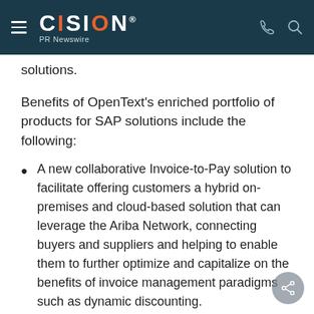CISION PR Newswire
solutions.
Benefits of OpenText's enriched portfolio of products for SAP solutions include the following:
A new collaborative Invoice-to-Pay solution to facilitate offering customers a hybrid on-premises and cloud-based solution that can leverage the Ariba Network, connecting buyers and suppliers and helping to enable them to further optimize and capitalize on the benefits of invoice management paradigms such as dynamic discounting.